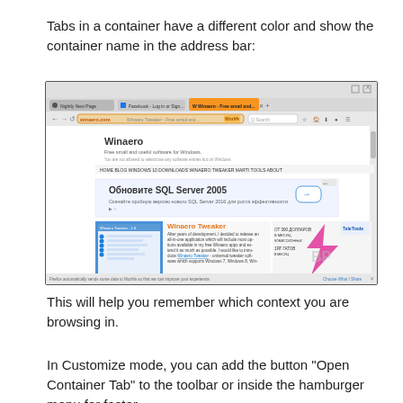Tabs in a container have a different color and show the container name in the address bar:
[Figure (screenshot): Firefox browser screenshot showing the Winaero website open in a container tab, with colored address bar indicating the container context. The page shows a Winaero Tweaker article and a Russian-language SQL Server 2005 ad.]
This will help you remember which context you are browsing in.
In Customize mode, you can add the button "Open Container Tab" to the toolbar or inside the hamburger menu for faster